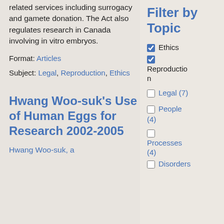related services including surrogacy and gamete donation. The Act also regulates research in Canada involving in vitro embryos.
Format: Articles
Subject: Legal, Reproduction, Ethics
Hwang Woo-suk's Use of Human Eggs for Research 2002-2005
Hwang Woo-suk, a
Filter by Topic
Ethics (checked)
Reproduction (checked)
Legal (7)
People (4)
Processes (4)
Disorders